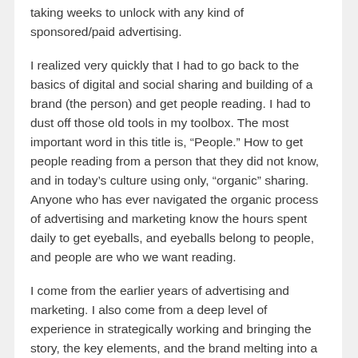taking weeks to unlock with any kind of sponsored/paid advertising.
I realized very quickly that I had to go back to the basics of digital and social sharing and building of a brand (the person) and get people reading. I had to dust off those old tools in my toolbox. The most important word in this title is, “People.” How to get people reading from a person that they did not know, and in today’s culture using only, “organic” sharing. Anyone who has ever navigated the organic process of advertising and marketing know the hours spent daily to get eyeballs, and eyeballs belong to people, and people are who we want reading.
I come from the earlier years of advertising and marketing. I also come from a deep level of experience in strategically working and bringing the story, the key elements, and the brand melting into a pot of advertising and marketing. However in this case I had become so savvy with all the tools for advertising and the bumps of